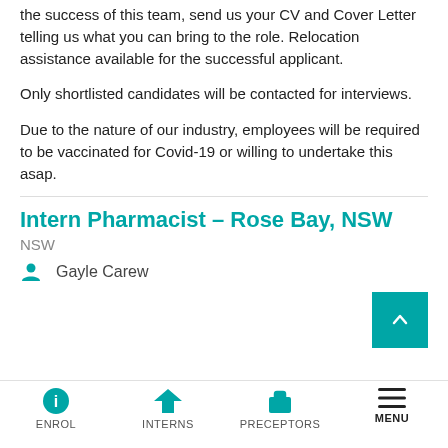the success of this team, send us your CV and Cover Letter telling us what you can bring to the role. Relocation assistance available for the successful applicant.
Only shortlisted candidates will be contacted for interviews.
Due to the nature of our industry, employees will be required to be vaccinated for Covid-19 or willing to undertake this asap.
Intern Pharmacist – Rose Bay, NSW
NSW
Gayle Carew
ENROL  INTERNS  PRECEPTORS  MENU